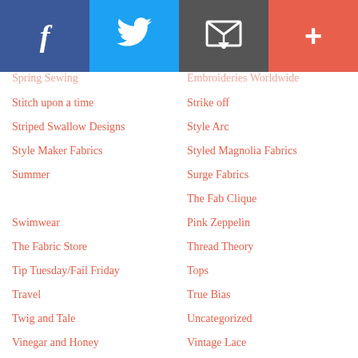[Figure (other): Social media sharing header bar with Facebook (blue), Twitter (light blue), Email (dark gray), and Add/Plus (coral/red) icon buttons]
Spring Sewing (partial, top of left column)
Stitch upon a time
Striped Swallow Designs
Style Maker Fabrics
Summer
Swimwear
The Fabric Store
Tip Tuesday/Fail Friday
Travel
Twig and Tale
Vinegar and Honey
Wanderlust Customs
Winter Sewing
Workout Gear
Embroideries Worldwide (partial, top of right column)
Strike off
Style Arc
Styled Magnolia Fabrics
Surge Fabrics
The Fab Clique
Pink Zeppelin
Thread Theory
Tops
True Bias
Uncategorized
Vintage Lace
Who Made it Best
Women's Patterns
Wovens